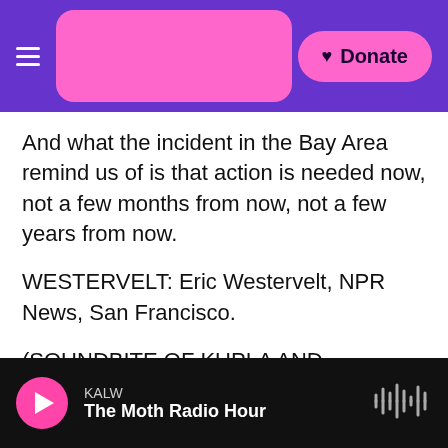KALW — [logo] — Donate
And what the incident in the Bay Area remind us of is that action is needed now, not a few months from now, not a few years from now.
WESTERVELT: Eric Westervelt, NPR News, San Francisco.
(SOUNDBITE OF KUPLA AND PHILANTHROPE'S "NAUTICAL") Transcript provided by NPR, Copyright NPR.
[Figure (other): Social share buttons: Facebook, Twitter, LinkedIn, Email]
KALW — The Moth Radio Hour — audio player bar